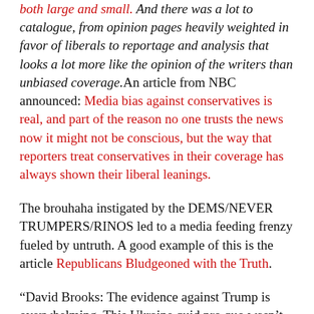both large and small. And there was a lot to catalogue, from opinion pages heavily weighted in favor of liberals to reportage and analysis that looks a lot more like the opinion of the writers than unbiased coverage.An article from NBC announced: Media bias against conservatives is real, and part of the reason no one trusts the news now it might not be conscious, but the way that reporters treat conservatives in their coverage has always shown their liberal leanings.
The brouhaha instigated by the DEMS/NEVER TRUMPERS/RINOS led to a media feeding frenzy fueled by untruth. A good example of this is the article Republicans Bludgeoned with the Truth.
“David Brooks: The evidence against Trump is overwhelming. This Ukraine quid pro quo wasn’t just a single reckless phone call. It was a multiprong several-